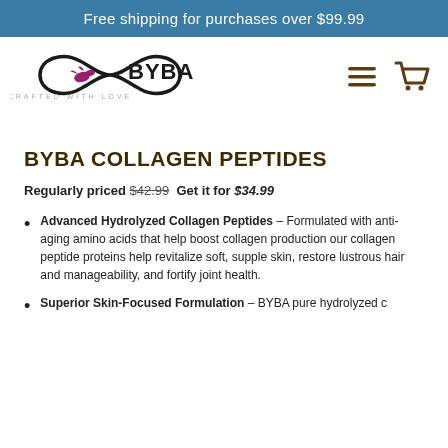Free shipping for purchases over $99.99
[Figure (logo): BYBA Crafted with Love logo — infinity symbol with birds and the text BYBA]
BYBA COLLAGEN PEPTIDES
Regularly priced $42.99  Get it for $34.99
Advanced Hydrolyzed Collagen Peptides – Formulated with anti-aging amino acids that help boost collagen production our collagen peptide proteins help revitalize soft, supple skin, restore lustrous hair and manageability, and fortify joint health.
Superior Skin-Focused Formulation – BYBA pure hydrolyzed c…